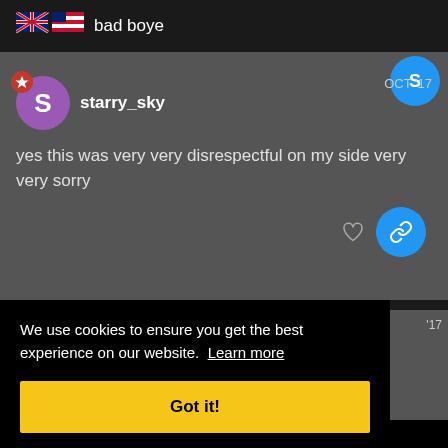bad boye
starry_sky  OCT '17
yes this was very very disrespectful on my side very very sorry
We use cookies to ensure you get the best experience on our website. Learn more
Got it!